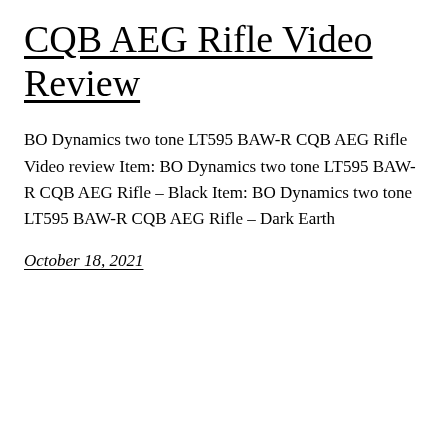CQB AEG Rifle Video Review
BO Dynamics two tone LT595 BAW-R CQB AEG Rifle Video review Item: BO Dynamics two tone LT595 BAW-R CQB AEG Rifle – Black Item: BO Dynamics two tone LT595 BAW-R CQB AEG Rifle – Dark Earth
October 18, 2021